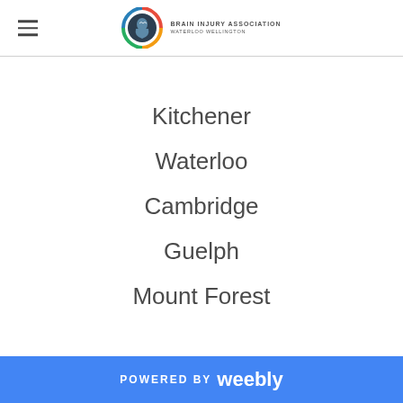Brain Injury Association Waterloo Wellington
Kitchener
Waterloo
Cambridge
Guelph
Mount Forest
POWERED BY weebly